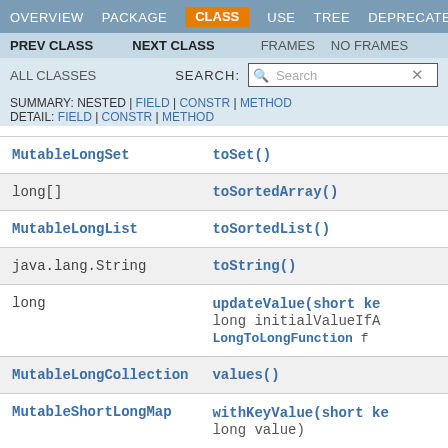OVERVIEW  PACKAGE  CLASS  USE  TREE  DEPRECATED
PREV CLASS  NEXT CLASS  FRAMES  NO FRAMES
ALL CLASSES  SEARCH:
SUMMARY: NESTED | FIELD | CONSTR | METHOD  DETAIL: FIELD | CONSTR | METHOD
| Type | Method |
| --- | --- |
| MutableLongSet | toSet() |
| long[] | toSortedArray() |
| MutableLongList | toSortedList() |
| java.lang.String | toString() |
| long | updateValue(short key, long initialValueIfAbsent, LongToLongFunction function) |
| MutableLongCollection | values() |
| MutableShortLongMap | withKeyValue(short key, long value) |